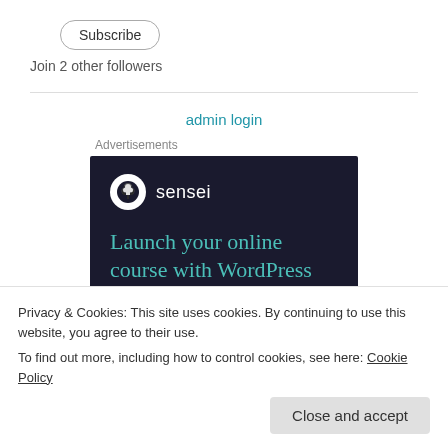Subscribe
Join 2 other followers
admin login
Advertisements
[Figure (logo): Sensei advertisement banner with dark navy background. Shows Sensei logo (tree icon in white circle) and text 'Launch your online course with WordPress' in teal/green color.]
Privacy & Cookies: This site uses cookies. By continuing to use this website, you agree to their use.
To find out more, including how to control cookies, see here: Cookie Policy
Close and accept